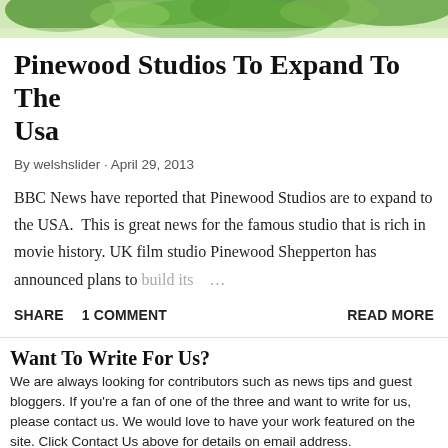[Figure (photo): Top portion of a nature/greenery photo, partially cropped at the top of the page]
Pinewood Studios To Expand To The Usa
By welshslider · April 29, 2013
BBC News have reported that Pinewood Studios are to expand to the USA.  This is great news for the famous studio that is rich in movie history. UK film studio Pinewood Shepperton has announced plans to build its …
SHARE    1 COMMENT    READ MORE
Want To Write For Us?
We are always looking for contributors such as news tips and guest bloggers. If you're a fan of one of the three and want to write for us, please contact us. We would love to have your work featured on the site. Click Contact Us above for details on email address.